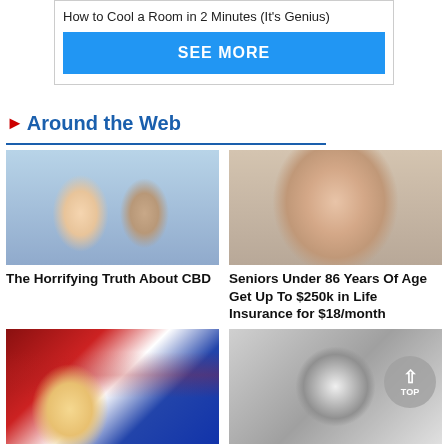How to Cool a Room in 2 Minutes (It's Genius)
SEE MORE
Around the Web
[Figure (photo): Couple smiling - woman with blonde hair and man with gray beard]
The Horrifying Truth About CBD
[Figure (photo): Close-up of elderly man with glasses]
Seniors Under 86 Years Of Age Get Up To $250k in Life Insurance for $18/month
[Figure (photo): Trump in front of American flag with military bag]
[Figure (photo): Hand holding camera/security device]